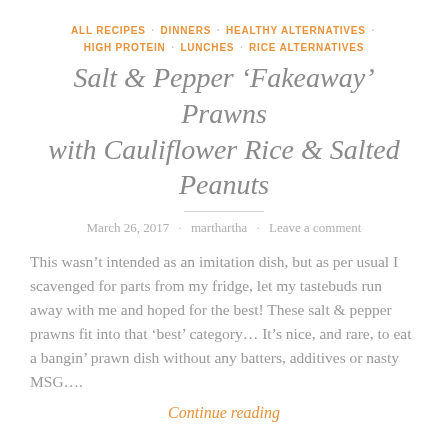ALL RECIPES · DINNERS · HEALTHY ALTERNATIVES · HIGH PROTEIN · LUNCHES · RICE ALTERNATIVES
Salt & Pepper ‘Fakeaway’ Prawns with Cauliflower Rice & Salted Peanuts
March 26, 2017 · marthartha · Leave a comment
This wasn’t intended as an imitation dish, but as per usual I scavenged for parts from my fridge, let my tastebuds run away with me and hoped for the best! These salt & pepper prawns fit into that ‘best’ category… It’s nice, and rare, to eat a bangin’ prawn dish without any batters, additives or nasty MSG….
Continue reading